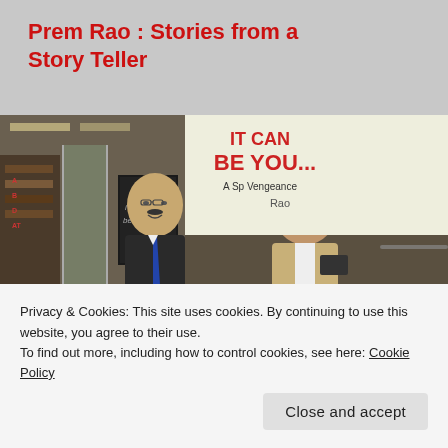Prem Rao : Stories from a Story Teller
[Figure (photo): Two men standing together smiling at a book launch event. Behind them is a banner and book cover showing text 'IT CAN BE YOU... A Sp... Vengeance' and '...Rao'. One man holds what appears to be a card or book.]
"LET THE DEAD STAY DEAD"
A Beta Reader On
Privacy & Cookies: This site uses cookies. By continuing to use this website, you agree to their use.
To find out more, including how to control cookies, see here: Cookie Policy
Close and accept